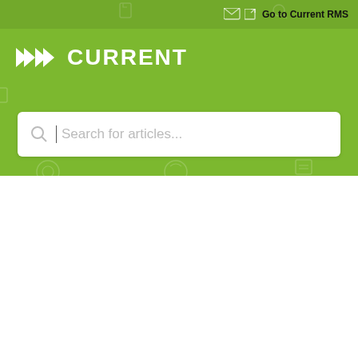[Figure (screenshot): Green header with Current RMS logo, search bar, background icons]
Go to Current RMS
All Collections > Set up your system
Set up your system
What's in System Setup? Learn how to set up your Current RMS system to suit your business.
29 articles in this collection